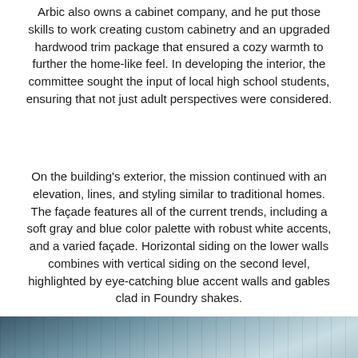Arbic also owns a cabinet company, and he put those skills to work creating custom cabinetry and an upgraded hardwood trim package that ensured a cozy warmth to further the home-like feel. In developing the interior, the committee sought the input of local high school students, ensuring that not just adult perspectives were considered.
On the building's exterior, the mission continued with an elevation, lines, and styling similar to traditional homes. The façade features all of the current trends, including a soft gray and blue color palette with robust white accents, and a varied façade. Horizontal siding on the lower walls combines with vertical siding on the second level, highlighted by eye-catching blue accent walls and gables clad in Foundry shakes.
[Figure (photo): Partial view of a building exterior with gray and blue siding elements visible at the bottom of the page.]